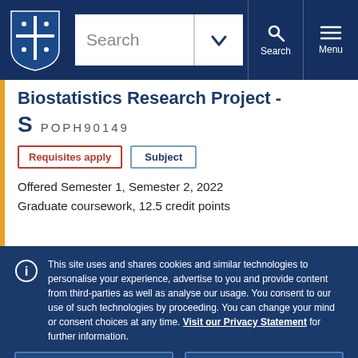University of Melbourne navigation bar with search
Biostatistics Research Project - S POPH90149
Requisites apply | Subject
Offered Semester 1, Semester 2, 2022
Graduate coursework, 12.5 credit points
This site uses and shares cookies and similar technologies to personalise your experience, advertise to you and provide content from third-parties as well as analyse our usage. You consent to our use of such technologies by proceeding. You can change your mind or consent choices at any time. Visit our Privacy Statement for further information.
Accept cookies | Cookie Preferences